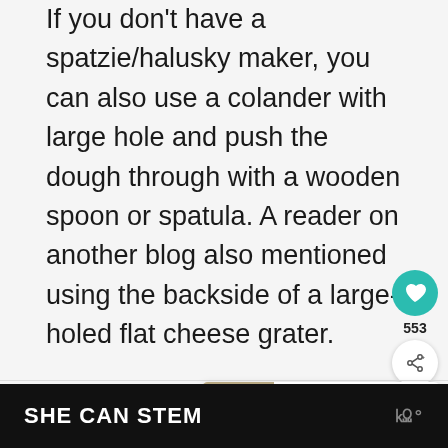If you don't have a spatzie/halusky maker, you can also use a colander with large hole and push the dough through with a wooden spoon or spatula. A reader on another blog also mentioned using the backside of a large-holed flat cheese grater.
[Figure (screenshot): Social sidebar with heart/like button showing 553 likes, and a share button]
[Figure (infographic): What's Next card showing a food photo thumbnail with text 'WHAT'S NEXT → Tojásos Nokedli...']
SHE CAN STEM